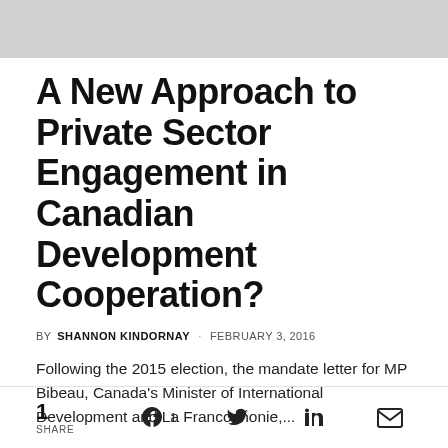[Figure (other): Gray header banner image at top of page]
A New Approach to Private Sector Engagement in Canadian Development Cooperation?
BY  SHANNON KINDORNAY · FEBRUARY 3, 2016
Following the 2015 election, the mandate letter for MP Bibeau, Canada's Minister of International Development and La Francophonie,...
1  SHARE  [Facebook 1]  [Twitter]  [LinkedIn]  [Email]